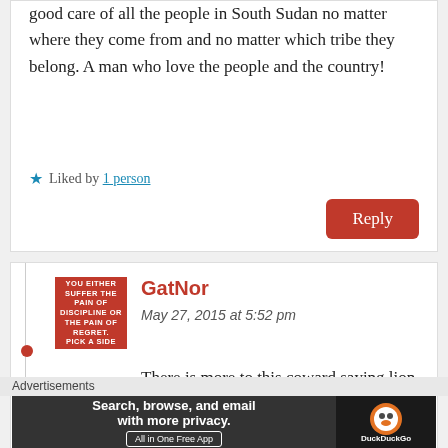good care of all the people in South Sudan no matter where they come from and no matter which tribe they belong. A man who love the people and the country!
★ Liked by 1 person
Reply
GatNor
May 27, 2015 at 5:52 pm
There is more to this coward saying lion king all the time than he
Advertisements
[Figure (screenshot): DuckDuckGo advertisement banner: 'Search, browse, and email with more privacy. All in One Free App' with DuckDuckGo logo on dark background]